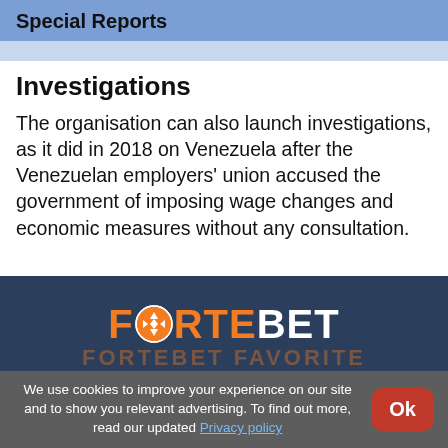Special Reports
...partial text cut off...
Investigations
The organisation can also launch investigations, as it did in 2018 on Venezuela after the Venezuelan employers' union accused the government of imposing wage changes and economic measures without any consultation.
[Figure (logo): FORTEBET advertisement banner with orange and white logo on dark navy background, with watermark text 'FORTEBET FAVORITE' underneath]
We use cookies to improve your experience on our site and to show you relevant advertising. To find out more, read our updated Privacy policy